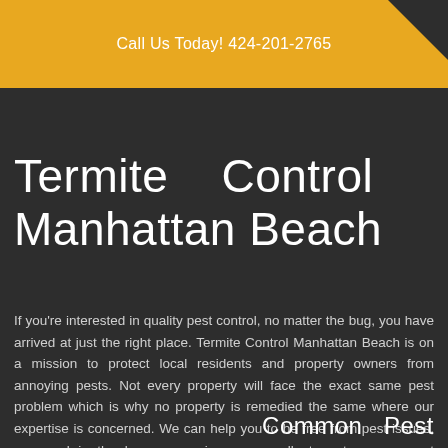Call Us Today! 424-201-2765
Termite Control Manhattan Beach
If you're interested in quality pest control, no matter the bug, you have arrived at just the right place. Termite Control Manhattan Beach is on a mission to protect local residents and property owners from annoying pests. Not every property will face the exact same pest problem which is why no property is remedied the same where our expertise is concerned. We can help you to be free from pest issues, now and in the long run, using our excellent pest management solutions.
Common Pest